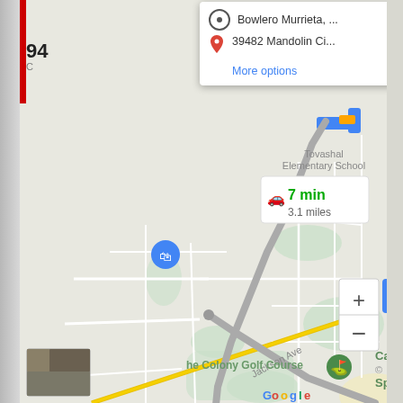[Figure (map): Google Maps screenshot showing a driving route from Bowlero Murrieta to 39482 Mandolin Ci. with a route info box showing 7 min / 3.1 miles. The map shows streets including Jackson Ave and Temecula, landmarks including Tovashal Elementary School and he Colony Golf Course. A popup card at the top shows the two route endpoints with a 'More options' link. Zoom controls (+/-) and a blue up-arrow button appear in the lower right.]